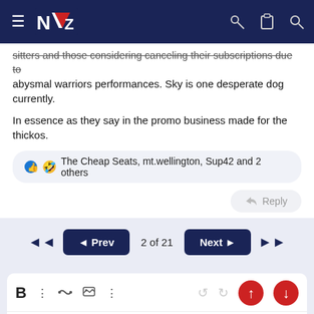NZ Warriors forum navigation bar
sitters and those considering canceling their subscriptions due to abysmal warriors performances. Sky is one desperate dog currently.
In essence as they say in the promo business made for the thickos.
👍 🤣 The Cheap Seats, mt.wellington, Sup42 and 2 others
Reply
2 of 21
Write your reply...